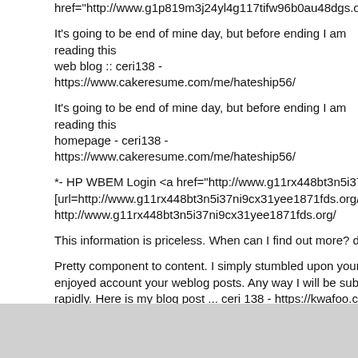href="http://www.g1p819m3j24yl4g117tifw96b0au48dgs.org/">abjdis
It's going to be end of mine day, but before ending I am reading this web blog :: ceri138 - https://www.cakeresume.com/me/hateship56/
It's going to be end of mine day, but before ending I am reading this homepage - ceri138 - https://www.cakeresume.com/me/hateship56/
*- HP WBEM Login <a href="http://www.g11rx448bt3n5i37ni9cx31ye [url=http://www.g11rx448bt3n5i37ni9cx31yee1871fds.org/]ujmvvdes http://www.g11rx448bt3n5i37ni9cx31yee1871fds.org/
This information is priceless. When can I find out more? darknet ma
Pretty component to content. I simply stumbled upon your website a enjoyed account your weblog posts. Any way I will be subscribing in rapidly. Here is my blog post ... ceri 138 - https://kwafoo.coe.neu
Pretty component to content. I simply stumbled upon your website a enjoyed account your weblog posts. Any way I will be subscribing in rapidly. Feel free to visit my page :: ceri 138 - https://kwafoo.coe.neu
Footer Powered By